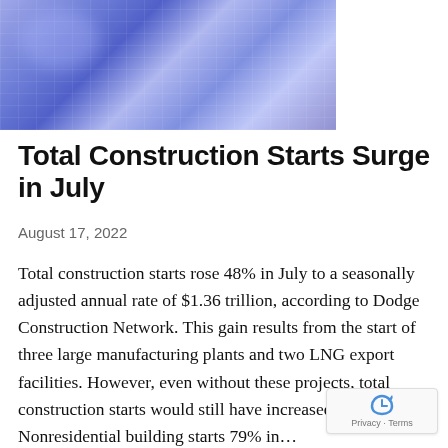[Figure (photo): Abstract blue technology/financial data visualization with glowing lines and grid patterns on a blue-purple gradient background]
Total Construction Starts Surge in July
August 17, 2022
Total construction starts rose 48% in July to a seasonally adjusted annual rate of $1.36 trillion, according to Dodge Construction Network. This gain results from the start of three large manufacturing plants and two LNG export facilities. However, even without these projects, total construction starts would still have increased 7%. Nonresidential building starts 79% in...